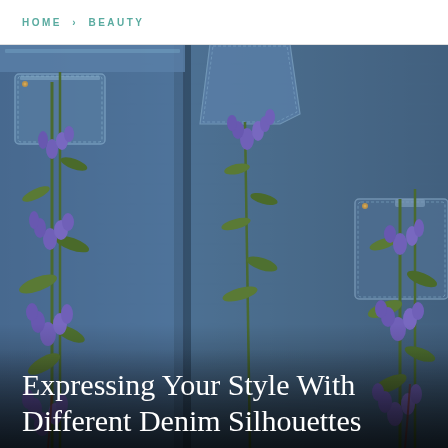HOME > BEAUTY
[Figure (photo): Close-up photograph of denim jeans and jacket pockets with purple lupine flowers inserted into the pockets, set against a blue denim background.]
Expressing Your Style With Different Denim Silhouettes